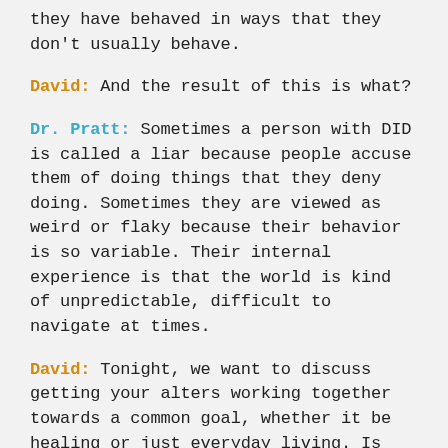they have behaved in ways that they don't usually behave.
David: And the result of this is what?
Dr. Pratt: Sometimes a person with DID is called a liar because people accuse them of doing things that they deny doing. Sometimes they are viewed as weird or flaky because their behavior is so variable. Their internal experience is that the world is kind of unpredictable, difficult to navigate at times.
David: Tonight, we want to discuss getting your alters working together towards a common goal, whether it be healing or just everyday living. Is that even possible or reasonable to expect that to happen?
Dr. Pratt: Oh, yes. It sure is. When people can get their alters to agree on things, life gets much easier and less disrupted. It's a difficult goal for many to reach, but not